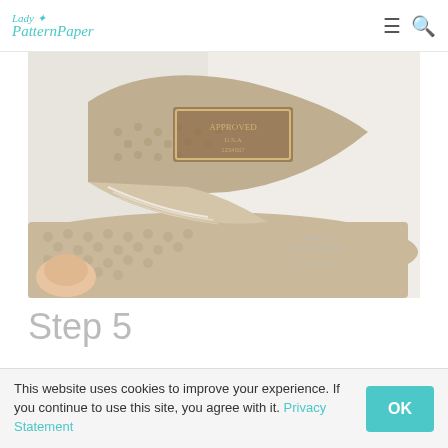Lady PatternPaper
[Figure (photo): Close-up photo of a folded piece of tan/beige patterned paper with a dotted texture and a stamp/label design. The paper is held by fingers and folded at the edge, showing layered sheets. A watermark reads 'Lady PatternPaper / Joelina Holtz' in the lower right corner.]
Step 5
I used this piece of paper so that when it is folded it forms a natural title page for the cover.
This website uses cookies to improve your experience. If you continue to use this site, you agree with it. Privacy Statement